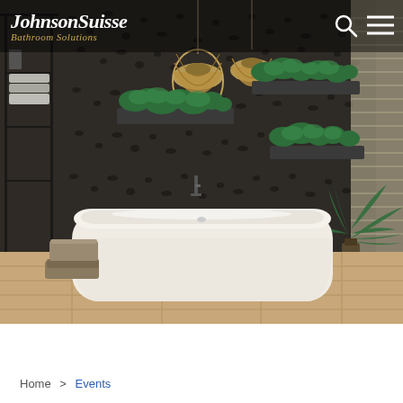[Figure (photo): JohnsonSuisse Bathroom Solutions website screenshot showing a luxury bathroom with a freestanding white bathtub, dark terrazzo-style tiled wall, hanging wicker pendant lights, wall-mounted black plant shelves with green plants, a palm plant in the corner, wooden floor, and a black-framed glass shelving unit with folded towels on the left.]
Home > Events